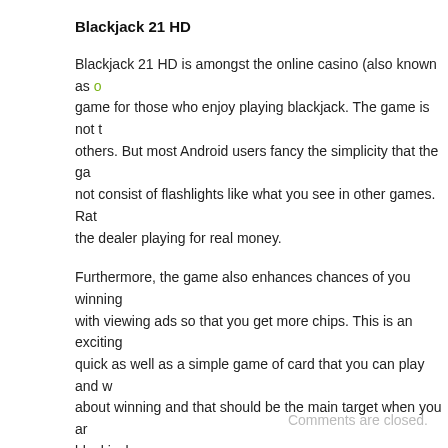Blackjack 21 HD
Blackjack 21 HD is amongst the online casino (also known as c... game for those who enjoy playing blackjack. The game is not t... others. But most Android users fancy the simplicity that the ga... not consist of flashlights like what you see in other games. Rath... the dealer playing for real money.
Furthermore, the game also enhances chances of you winning ... with viewing ads so that you get more chips. This is an exciting ... quick as well as a simple game of card that you can play and w... about winning and that should be the main target when you ar... blackjack.
Posted in: Misc
Comments are closed.